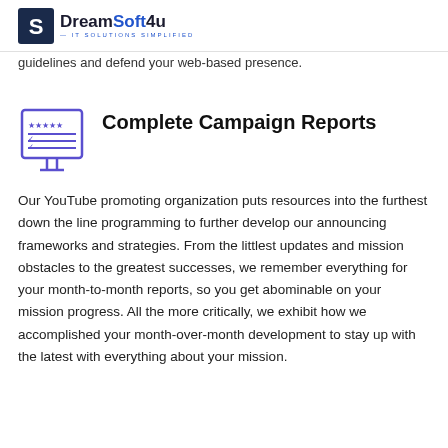DreamSoft4u — IT SOLUTIONS SIMPLIFIED
guidelines and defend your web-based presence.
Complete Campaign Reports
Our YouTube promoting organization puts resources into the furthest down the line programming to further develop our announcing frameworks and strategies. From the littlest updates and mission obstacles to the greatest successes, we remember everything for your month-to-month reports, so you get abominable on your mission progress. All the more critically, we exhibit how we accomplished your month-over-month development to stay up with the latest with everything about your mission.